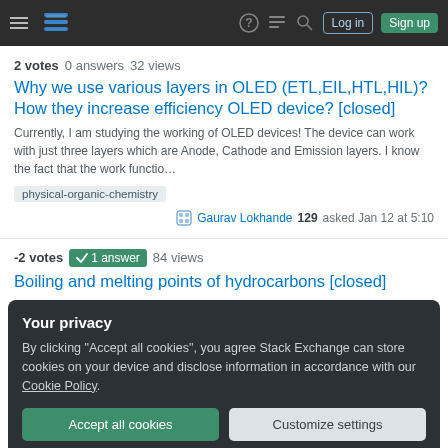Stack Exchange navigation bar with hamburger menu, logo, help, chat, search icons, Log in and Sign up buttons
2 votes  0 answers  32 views
Why we use various layers in OLED (ETL,EIL,HTL,HIL)? How they increase efficiency OLED device? [closed]
Currently, I am studying the working of OLED devices! The device can work with just three layers which are Anode, Cathode and Emission layers. I know the fact that the work functio…
physical-organic-chemistry
Gaurav Lokhande 129 asked Jan 12 at 5:10
-2 votes  1 answer  84 views
Boiling and melting points of hydrocarbons [closed]
Your privacy
By clicking "Accept all cookies", you agree Stack Exchange can store cookies on your device and disclose information in accordance with our Cookie Policy.
Accept all cookies
Customize settings